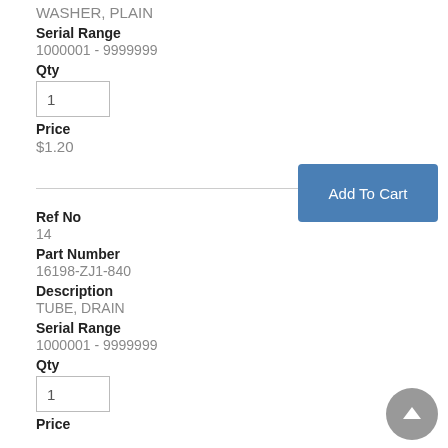WASHER, PLAIN
Serial Range
1000001 - 9999999
Qty
1
Price
$1.20
Ref No
14
Part Number
16198-ZJ1-840
Description
TUBE, DRAIN
Serial Range
1000001 - 9999999
Qty
1
Price